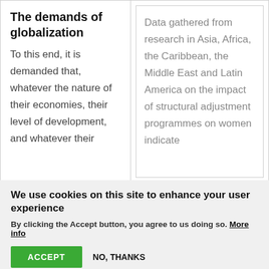The demands of globalization
To this end, it is demanded that, whatever the nature of their economies, their level of development, and whatever their
Data gathered from research in Asia, Africa, the Caribbean, the Middle East and Latin America on the impact of structural adjustment programmes on women indicate
We use cookies on this site to enhance your user experience
By clicking the Accept button, you agree to us doing so. More info
ACCEPT
NO, THANKS